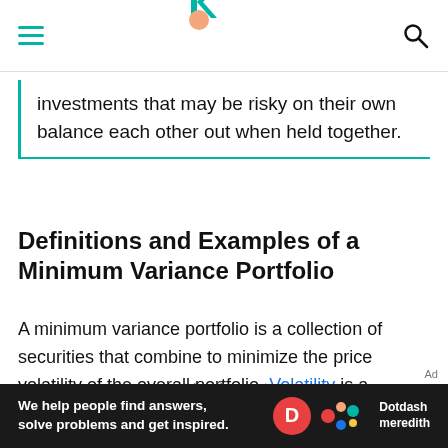[Navigation bar with hamburger menu, site logo, and search icon]
investments that may be risky on their own balance each other out when held together.
Definitions and Examples of a Minimum Variance Portfolio
A minimum variance portfolio is a collection of securities that combine to minimize the price volatility of the overall portfolio. Volatility is a measure of a security's price movement (ups and downs).
Advertisement
[Figure (other): Partial advertisement banner showing teal/green colored background with Dotdash Meredith branding and text 'We help people find answers, solve problems and get inspired.']